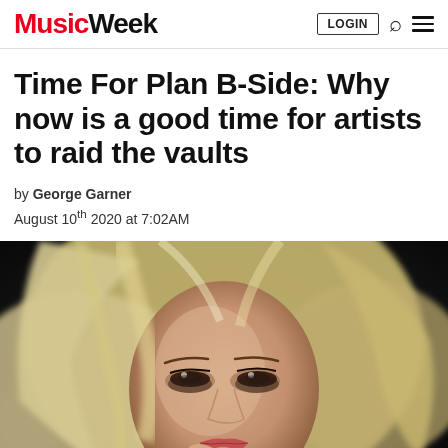Music Week | LOGIN
Time For Plan B-Side: Why now is a good time for artists to raid the vaults
by George Garner
August 10th 2020 at 7:02AM
[Figure (photo): Blonde female pop artist with tousled hair, posing with finger near lips against a dark background]